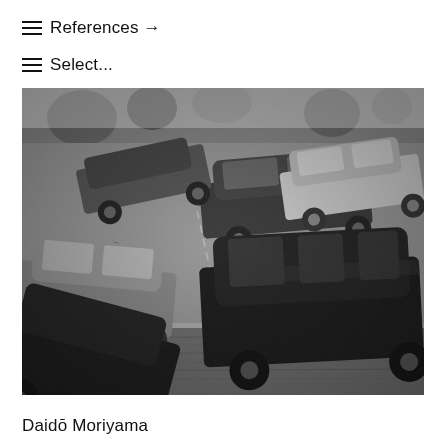≡ References →
≡ Select...
[Figure (photo): Black and white overhead photograph of a crowded parking lot with multiple vehicles including SUVs and sedans, shot from above at an angle. Style reminiscent of Daidō Moriyama street photography.]
Daidō Moriyama